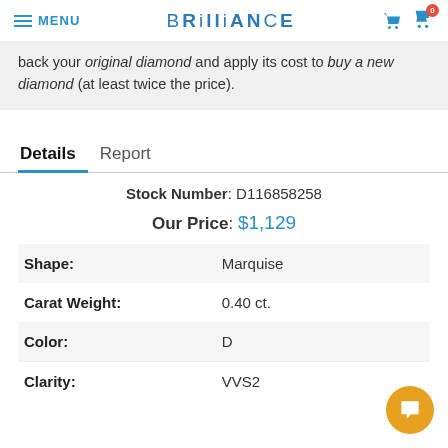MENU | BRILLIANCE | phone icon | cart icon (0)
back your original diamond and apply its cost to buy a new diamond (at least twice the price).
Details   Report
Stock Number: D116858258
Our Price: $1,129
| Property | Value |
| --- | --- |
| Shape: | Marquise |
| Carat Weight: | 0.40 ct. |
| Color: | D |
| Clarity: | VVS2 |